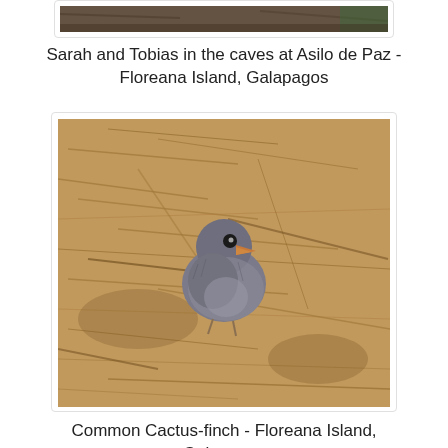[Figure (photo): Top portion of a photo showing people in caves at Asilo de Paz, Floreana Island, Galapagos - only the bottom strip of the image is visible]
Sarah and Tobias in the caves at Asilo de Paz - Floreana Island, Galapagos
[Figure (photo): A Common Cactus-finch bird standing on dry straw/hay ground on Floreana Island, Galapagos. The bird is gray with an orange-tinged beak.]
Common Cactus-finch - Floreana Island, Galapagos
[Figure (photo): Another close-up photo of a dark gray bird (likely another finch) on rocky/sandy ground on Floreana Island, Galapagos - partially cut off at bottom of page]